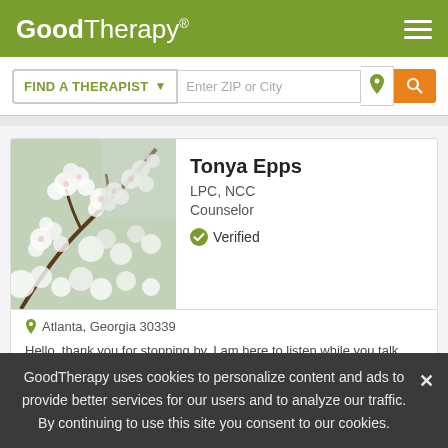[Figure (logo): GoodTherapy logo in white on olive/green background with registered trademark symbol]
[Figure (screenshot): Search bar with FIND A THERAPIST dropdown, Enter ZIP or City input field, location icon and orange search button]
[Figure (photo): Cherry blossom flowers, white blossoms on branches against grey background]
Tonya Epps
LPC, NCC
Counselor
Verified
Atlanta, Georgia 30339
Hello, thank you for stopping by. I am here to listen while you talk. Sometimes talking things out can be the best therapy as you finally
GoodTherapy uses cookies to personalize content and ads to provide better services for our users and to analyze our traffic. By continuing to use this site you consent to our cookies.